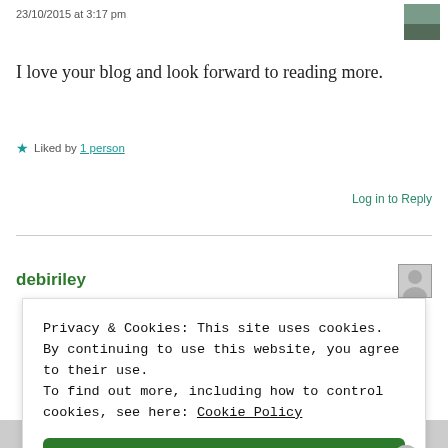23/10/2015 at 3:17 pm
I love your blog and look forward to reading more.
★ Liked by 1 person
Log in to Reply
debiriley
Privacy & Cookies: This site uses cookies. By continuing to use this website, you agree to their use.
To find out more, including how to control cookies, see here: Cookie Policy
Close and accept